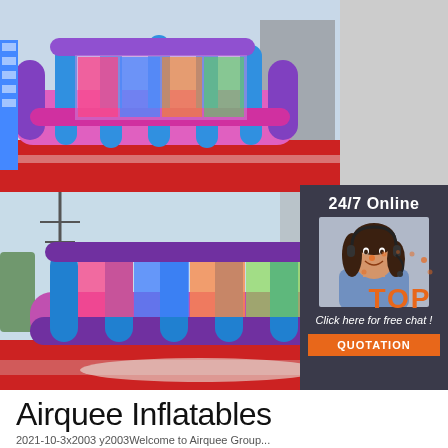[Figure (photo): Two photos of large inflatable play structures (bounce houses/fun zones) in blue, purple, and pink colors, displayed on a red mat in an outdoor setting. Top photo shows an aerial-angled front view; bottom photo shows a side-on ground-level view.]
[Figure (infographic): Sidebar overlay panel with dark background showing '24/7 Online' text, a customer service agent woman with headset and blue shirt, italic text 'Click here for free chat!', and an orange button labeled 'QUOTATION'.]
[Figure (logo): Orange 'TOP' badge logo with dot decorations in bottom-right corner of the photo area.]
Airquee Inflatables
2021-10-3x2003 y2003Welcome to Airquee Group...